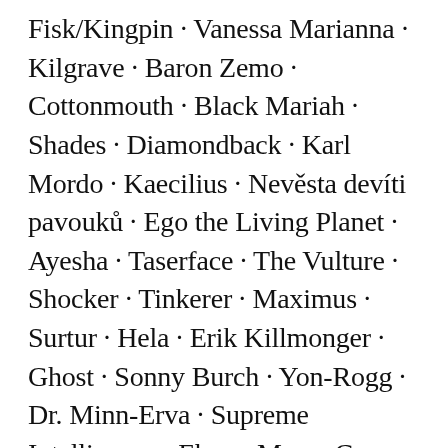Fisk/Kingpin · Vanessa Marianna · Kilgrave · Baron Zemo · Cottonmouth · Black Mariah · Shades · Diamondback · Karl Mordo · Kaecilius · Nevěsta devíti pavouků · Ego the Living Planet · Ayesha · Taserface · The Vulture · Shocker · Tinkerer · Maximus · Surtur · Hela · Erik Killmonger · Ghost · Sonny Burch · Yon-Rogg · Dr. Minn-Erva · Supreme Intelligence · Ebony Maw · Corvus Glaive · Proxima Midnight · Cull Obsidian · Morgan le Fay · Mysterio · Agatha Harkness · Valentina Allegra de Fontaine · He Who Remains · Kang · Taskmaster · General Dreykov · Xu Wenwu · Death Dealer · Razor Fist · Ikaris · Doctor Octopus · Green Goblin · Electro· Sandman · Lizard · Arthur Harrow · Anton Mogart · Gorr the God Butcher · Zoey Rooms · Titania ·